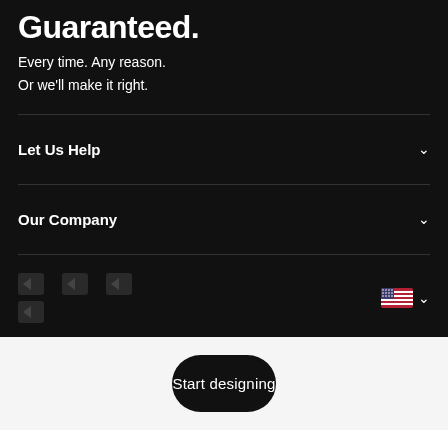Guaranteed.
Every time. Any reason.
Or we'll make it right.
Let Us Help
Our Company
[Figure (screenshot): Row of dark payment/brand logo icons and a US flag locale selector with chevron]
Start designing